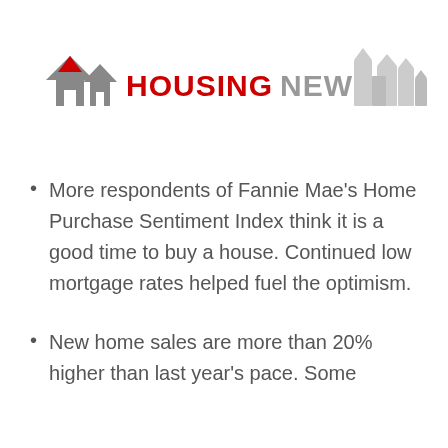[Figure (logo): Housing News logo with two house silhouettes (one with red roof accent) and text HOUSING NEWS in red and gray, plus decorative gray building silhouettes on the right]
More respondents of Fannie Mae's Home Purchase Sentiment Index think it is a good time to buy a house. Continued low mortgage rates helped fuel the optimism.
New home sales are more than 20% higher than last year's pace. Some